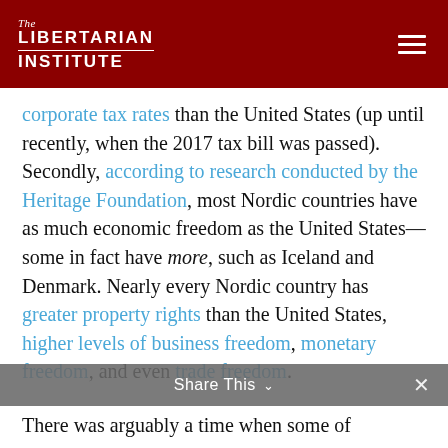The Libertarian Institute
corporate tax rates than the United States (up until recently, when the 2017 tax bill was passed). Secondly, according to research conducted by the Heritage Foundation, most Nordic countries have as much economic freedom as the United States—some in fact have more, such as Iceland and Denmark. Nearly every Nordic country has greater property rights than the United States, higher levels of business freedom, monetary freedom, and even trade freedom.
There was arguably a time when some of